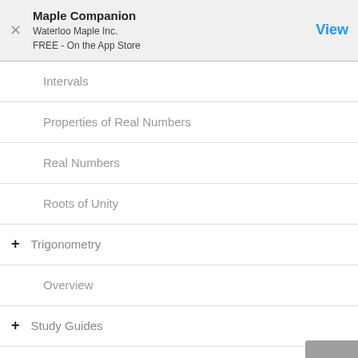Maple Companion
Waterloo Maple Inc.
FREE - On the App Store
Intervals
Properties of Real Numbers
Real Numbers
Roots of Unity
+ Trigonometry
Overview
+ Study Guides
+ Education
+ Reference